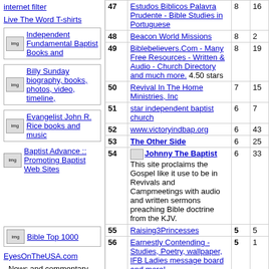internet filter
Live The Word T-shirts
Independent Fundamental Baptist Books and
Billy Sunday biography, books, photos, video, timeline,
Evangelist John R. Rice books and music
Baptist Advance :: Promoting Baptist Web Sites
Bible Top 1000
EyesOnTheUSA.com - News and commentary
FundamentalTop500.com KJB Book Store Great Christians
| # | Site | In | Out |
| --- | --- | --- | --- |
| 47 | Estudos Biblicos Palavra Prudente - Bible Studies in Portuguese | 8 | 16 |
| 48 | Beacon World Missions | 8 | 2 |
| 49 | Biblebelievers.Com - Many Free Resources - Written & Audio - Church Directory and much more. 4.50 stars | 8 | 19 |
| 50 | Revival In The Home Ministries, Inc | 7 | 15 |
| 51 | star independent baptist church | 6 | 7 |
| 52 | www.victoryindbap.org | 6 | 43 |
| 53 | The Other Side | 6 | 25 |
| 54 | Johnny The Baptist - This site proclaims the Gospel like it use to be in Revivals and Campmeetings with audio and written sermons preaching Bible doctrine from the KJV. | 6 | 33 |
| 55 | Raising3Princesses | 5 | 5 |
| 56 | Earnestly Contending - Studies, Poetry, wallpaper, IFB Ladies message board and more! | 5 | 1 |
| 57 | Philippines For Jesus | 4 | 3 |
| 58 | Heritage Baptist Church, Jefferson, TX | 4 | 11 |
| 59 | Theological Compositions | 4 | 2 |
| 60 | Practical Bible - Books, Sermons | 4 | 13 |
| 61 | Frugal Abundance | 4 | 6 |